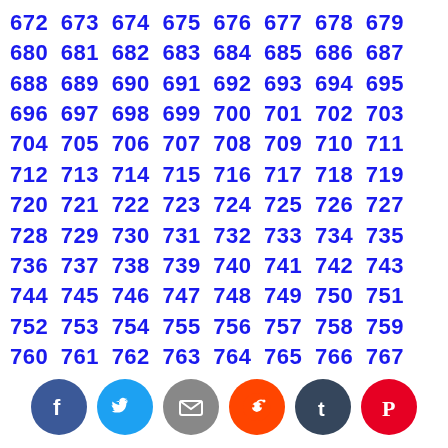672 673 674 675 676 677 678 679 680 681 682 683 684 685 686 687 688 689 690 691 692 693 694 695 696 697 698 699 700 701 702 703 704 705 706 707 708 709 710 711 712 713 714 715 716 717 718 719 720 721 722 723 724 725 726 727 728 729 730 731 732 733 734 735 736 737 738 739 740 741 742 743 744 745 746 747 748 749 750 751 752 753 754 755 756 757 758 759 760 761 762 763 764 765 766 767 768 769 770 771 772 773 774 775 776 777 778 779 780 781 782 783 784 785 786 787 788 789 790 791 792 793 794 795 796 797 798 799 800 801 802 803 804 805 806 807 808 809 810 811 812 813 814 815 816 817 818 819 820 821 822 823 824 825 826 827 828 829 830 831 832 833 834 835 836 837 838 839 840 841 842 843 844 845 846 847 848 849 850 851 852 853 854 855 856 857 858 859 860 861 862 863 864 865 866 867 868 869 870 871 872 873 874 875 876 877 878 879
[Figure (infographic): Social media share icons: Facebook (blue), Twitter (light blue), Email (gray), Reddit (orange), Tumblr (dark slate), Pinterest (red)]